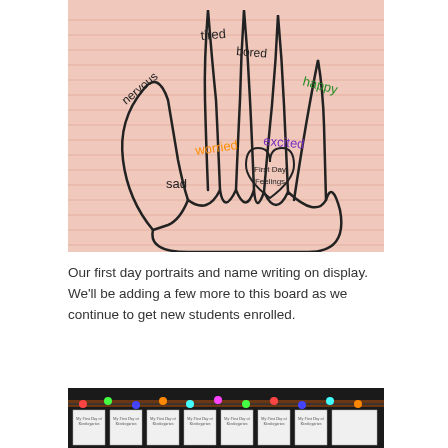[Figure (photo): A large pink paper with a hand outline drawn on it. Each finger and the thumb has a feeling word written along it: 'tired' (index finger), 'bored' (middle finger), 'happy' (ring finger, green), 'nervous' (thumb, black), 'worried' (orange), 'excited' (purple), 'sad' (black). In the palm is a heart shape with the text 'First Day Feelings' written inside.]
Our first day portraits and name writing on display. We'll be adding a few more to this board as we continue to get new students enrolled.
[Figure (photo): A bulletin board decorated with colorful Christmas lights along the top edge. Multiple white student booklets/portfolios are pinned in a row on a dark background with a patterned border.]